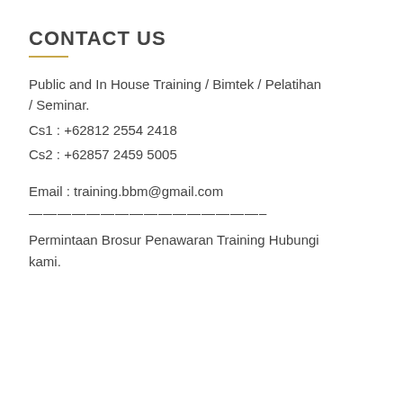CONTACT US
Public and In House Training / Bimtek / Pelatihan / Seminar.
Cs1 : +62812 2554 2418
Cs2 : +62857 2459 5005
Email : training.bbm@gmail.com
————————————————–
Permintaan Brosur Penawaran Training Hubungi kami.